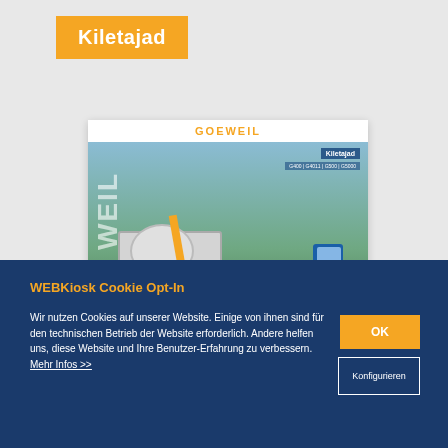Kiletajad
[Figure (photo): Product brochure cover showing a Goeweil bale wrapper machine (G50 series) with a blue tractor on a green field background. The brochure header shows 'GOEWEIL' logo in orange. A label 'Kiletajad' appears on the cover with model details.]
EE | Kiletajad | G50 Seeria | Goeweil
WEBKiosk Cookie Opt-In
Wir nutzen Cookies auf unserer Website. Einige von ihnen sind für den technischen Betrieb der Website erforderlich. Andere helfen uns, diese Website und Ihre Benutzer-Erfahrung zu verbessern. Mehr Infos >>
OK
Konfigurieren